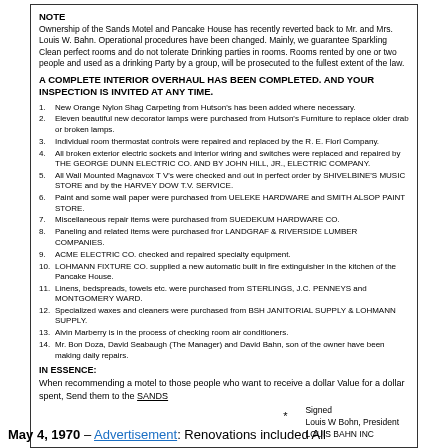NOTE
Ownership of the Sands Motel and Pancake House has recently reverted back to Mr. and Mrs. Louis W. Bahn. Operational procedures have been changed. Mainly, we guarantee Sparkling Clean perfect rooms and do not tolerate Drinking parties in rooms. Rooms rented by one or two people and used as a drinking Party by a group, will be prosecuted to the fullest extent of the law.
A COMPLETE INTERIOR OVERHAUL HAS BEEN COMPLETED. AND YOUR INSPECTION IS INVITED AT ANY TIME.
New Orange Nylon Shag Carpeting from Hutson's has been added where necessary.
Eleven beautiful new decorator lamps were purchased from Hutson's Furniture to replace older drab or broken lamps.
Individual room thermostat controls were repaired and replaced by the R. E. Florl Company.
All broken exterior electric sockets and interior wiring and switches were replaced and repaired by THE GEORGE DUNN ELECTRIC CO. AND BY JOHN HILL, JR., ELECTRIC COMPANY.
All Wall Mounted Magnavox T V's were checked and out in perfect order by SHIVELBINE'S MUSIC STORE and by the HARVEY DOW T.V. SERVICE.
Paint and some wall paper were purchased from UELEKE HARDWARE and SMITH ALSOP PAINT STORE.
Miscellaneous repair items were purchased from SUEDEKUM HARDWARE CO.
Paneling and related items were purchased fror LANDGRAF & RIVERSIDE LUMBER COMPANIES.
ACME ELECTRIC CO. checked and repaired specialty equipment.
LOHMANN FIXTURE CO. supplied a new automatic built in fire extinguisher in the kitchen of the Pancake House.
Linens, bedspreads, towels etc. were purchased from STERLINGS, J.C. PENNEYS and MONTGOMERY WARD.
Specialized waxes and cleaners were purchased from BSH JANITORIAL SUPPLY & LOHMANN SUPPLY.
Alvin Marberry is in the process of checking room air conditioners.
Mr. Bon Doza, David Seabaugh (The Manager) and David Bahn, son of the owner have been making daily repairs.
IN ESSENCE:
When recommending a motel to those people who want to receive a dollar Value for a dollar spent, Send them to the SANDS
Signed
Louis W Bohn, President
LOUIS BAHN INC
May 4, 1970 – Advertisement: Renovations included All